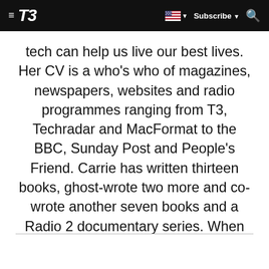T3 | Subscribe
tech can help us live our best lives. Her CV is a who's who of magazines, newspapers, websites and radio programmes ranging from T3, Techradar and MacFormat to the BBC, Sunday Post and People's Friend. Carrie has written thirteen books, ghost-wrote two more and co-wrote another seven books and a Radio 2 documentary series. When she's not scribbling, she's the singer in Glaswegian rock band HAVR (havrmusic.com).